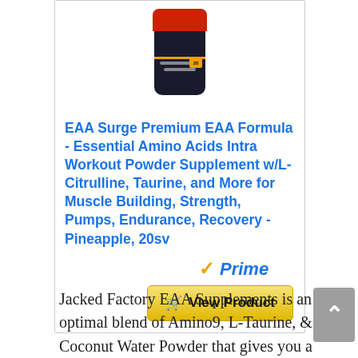[Figure (photo): Product image of EAA Surge supplement container (black with red top, pineapple flavor, 20 servings) shown partially at top of card]
EAA Surge Premium EAA Formula - Essential Amino Acids Intra Workout Powder Supplement w/L-Citrulline, Taurine, and More for Muscle Building, Strength, Pumps, Endurance, Recovery - Pineapple, 20sv
[Figure (logo): Amazon Prime badge with orange checkmark and blue italic 'Prime' text]
[Figure (other): Yellow 'View Product' button with shopping cart icon]
Jacked Factory EAA Supplements is an optimal blend of Amino9, L-Taurine, & Coconut Water Powder that gives you a